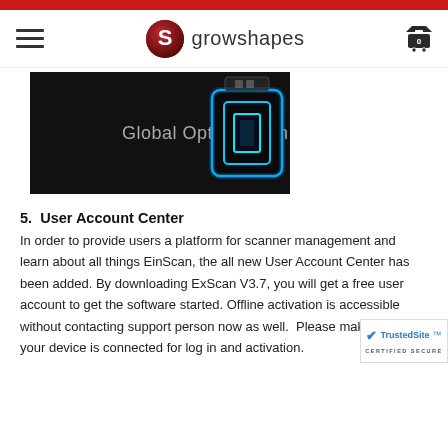growshapes navigation header with logo and cart
[Figure (screenshot): Dark background product screenshot showing 'Global Optimization' text with a glowing blue square icon on the right side]
5.  User Account Center
In order to provide users a platform for scanner management and learn about all things EinScan, the all new User Account Center has been added. By downloading ExScan V3.7, you will get a free user account to get the software started. Offline activation is accessible without contacting support person now as well.  Please make sure your device is connected for log in and activation.